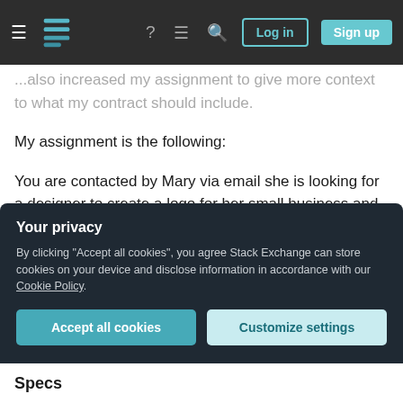Navigation bar with logo, icons, Log in and Sign up buttons
...also increased my assignment to give more context to what my contract should include.
My assignment is the following:
You are contacted by Mary via email she is looking for a designer to create a logo for her small business and a catalog. She has informed you of the specs of the project and her budget. Mary is starting up a custom furniture company, Mary's Custom Furniture. Mary has also informed you that she would like her logo to be black and pink. For the
Your privacy
By clicking "Accept all cookies", you agree Stack Exchange can store cookies on your device and disclose information in accordance with our Cookie Policy.
Accept all cookies   Customize settings
Specs